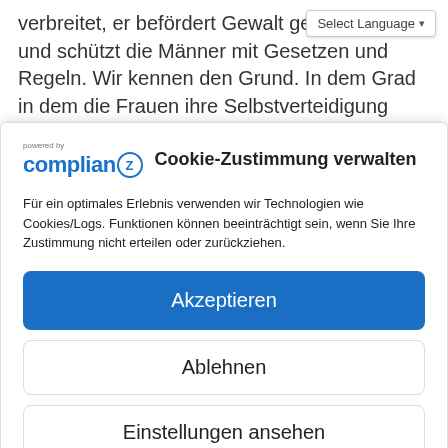verbreitet, er befördert Gewalt gegen Frauen und schützt die Männer mit Gesetzen und Regeln. Wir kennen den Grund. In dem Grad in dem die Frauen ihre Selbstverteidigung gegen den patriarchalen Staat, die patriarchale Gesellschaft und Familie…
[Figure (screenshot): Cookie consent modal dialog from Complian(Z) service. Header shows 'powered by complian(Z)' logo followed by title 'Cookie-Zustimmung verwalten'. Body text: 'Für ein optimales Erlebnis verwenden wir Technologien wie Cookies/Logs. Funktionen können beeinträchtigt sein, wenn Sie Ihre Zustimmung nicht erteilen oder zurückziehen.' Three buttons: blue 'Akzeptieren', white 'Ablehnen', white 'Einstellungen ansehen'. Footer links: 'Cookie-Richtlinie', 'Datenschutzerklärung', 'Impressum'.]